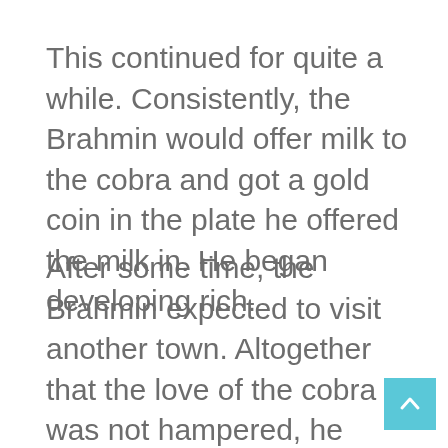This continued for quite a while. Consistently, the Brahmin would offer milk to the cobra and got a gold coin in the plate he offered the milk in. He began developing rich.
After some time, the Brahmin expected to visit another town. Altogether that the love of the cobra was not hampered, he taught his child to offer milk to the cobra consistently, and keep the gift the cobra offers as a trade-off.
Adhering to his directions, the Brahmin's child offered milk to the cobra in due time.